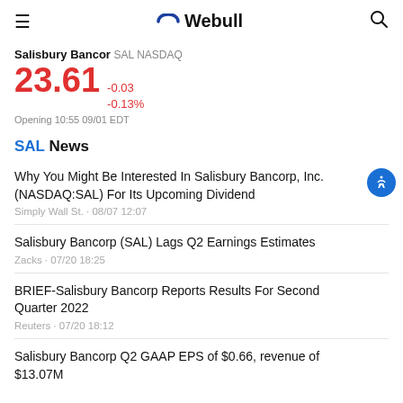Webull
Salisbury Bancor SAL NASDAQ
23.61 -0.03 -0.13% Opening 10:55 09/01 EDT
SAL News
Why You Might Be Interested In Salisbury Bancorp, Inc. (NASDAQ:SAL) For Its Upcoming Dividend | Simply Wall St. · 08/07 12:07
Salisbury Bancorp (SAL) Lags Q2 Earnings Estimates | Zacks · 07/20 18:25
BRIEF-Salisbury Bancorp Reports Results For Second Quarter 2022 | Reuters · 07/20 18:12
Salisbury Bancorp Q2 GAAP EPS of $0.66, revenue of $13.07M